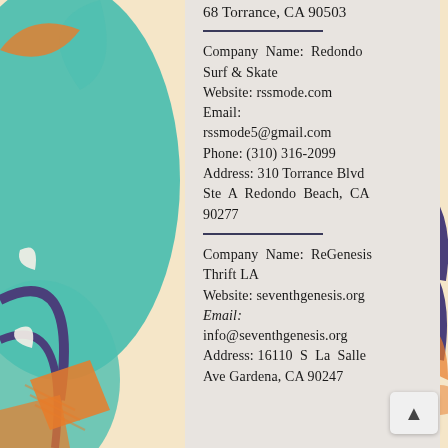68 Torrance, CA 90503
Company Name: Redondo Surf & Skate
Website: rssmode.com
Email: rssmode5@gmail.com
Phone: (310) 316-2099
Address: 310 Torrance Blvd Ste A Redondo Beach, CA 90277
Company Name: ReGenesis Thrift LA
Website: seventhgenesis.org
Email: info@seventhgenesis.org
Address: 16110 S La Salle Ave Gardena, CA 90247